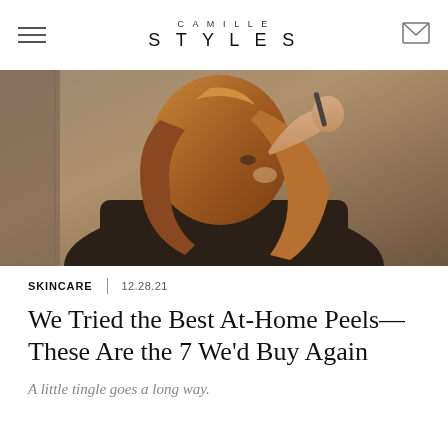CAMILLE STYLES
[Figure (photo): A woman with auburn/red wavy hair in a dark top, holding what appears to be a beauty tool near her face, photographed in a bathroom or vanity setting.]
SKINCARE | 12.28.21
We Tried the Best At-Home Peels—These Are the 7 We'd Buy Again
A little tingle goes a long way.